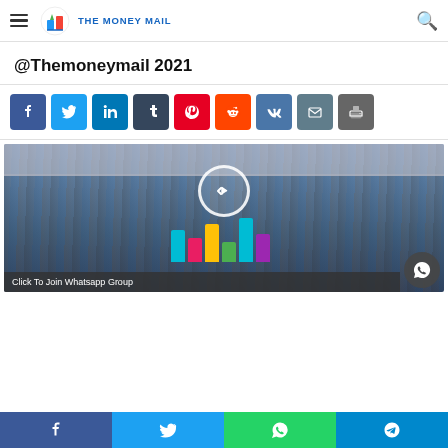The Money Mail
@Themoneymail 2021
[Figure (other): Social media share buttons: Facebook, Twitter, LinkedIn, Tumblr, Pinterest, Reddit, VK, Email, Print]
[Figure (photo): Group photo of a large crowd of people at an event, with colorful geometric step decorations. Overlay shows a play button circle and a WhatsApp join group banner.]
[Figure (other): Bottom navigation bar with Facebook, Twitter, WhatsApp, and Telegram share icons]